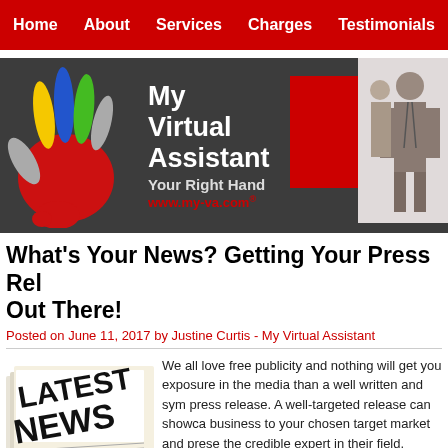Home  About  Services  Charges  Testimonials
[Figure (logo): My Virtual Assistant banner with colorful handprint logo, text 'My Virtual Assistant Your Right Hand www.my-va.com®' on dark grey background with a red box and a man in a suit on the right]
What's Your News? Getting Your Press Release Out There!
Posted on June 11, 2017 by Justine Curtis - My Virtual Assistant
[Figure (photo): Stack of newspapers showing 'LATEST NEWS' headline]
We all love free publicity and nothing will get you exposure in the media than a well written and syndicated press release. A well-targeted release can showcase your business to your chosen target market and present you as the credible expert in their field.